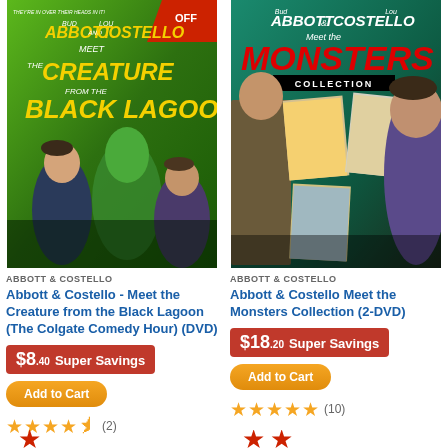[Figure (photo): DVD cover for Abbott & Costello Meet the Creature from the Black Lagoon with green background and movie characters]
[Figure (photo): DVD cover for Abbott & Costello Meet the Monsters Collection (2-DVD) with teal background and movie posters]
ABBOTT & COSTELLO
Abbott & Costello - Meet the Creature from the Black Lagoon (The Colgate Comedy Hour) (DVD)
$8.40 Super Savings
Add to Cart
★★★★½ (2)
ABBOTT & COSTELLO
Abbott & Costello Meet the Monsters Collection (2-DVD)
$18.20 Super Savings
Add to Cart
★★★★★ (10)